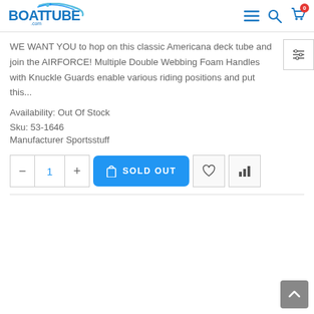BoatTube.com
WE WANT YOU to hop on this classic Americana deck tube and join the AIRFORCE! Multiple Double Webbing Foam Handles with Knuckle Guards enable various riding positions and put this...
Availability:  Out Of Stock
Sku: 53-1646
Manufacturer Sportsstuff